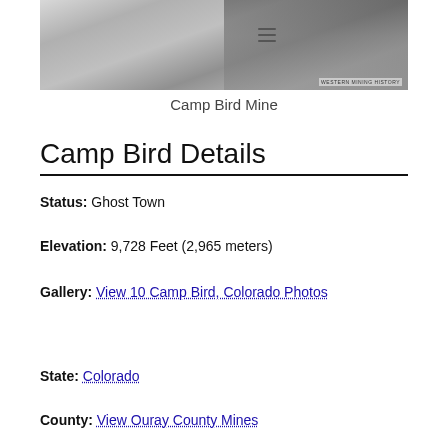[Figure (photo): Black and white historical photo of Camp Bird Mine showing mining structures, buildings and trees on a hillside]
Camp Bird Mine
Camp Bird Details
Status: Ghost Town
Elevation: 9,728 Feet (2,965 meters)
Gallery: View 10 Camp Bird, Colorado Photos
State: Colorado
County: View Ouray County Mines